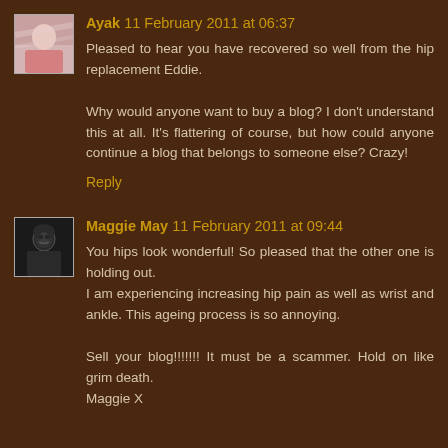Ayak 11 February 2011 at 06:37
Pleased to hear you have recovered so well from the hip replacement Eddie.

Why would anyone want to buy a blog? I don't understand this at all. It's flattering of course, but how could anyone continue a blog that belongs to someone else? Crazy!
Reply
Maggie May 11 February 2011 at 09:44
You hips look wonderful! So pleased that the other one is holding out.
I am experiencing increasing hip pain as well as wrist and ankle. This ageing process is so annoying.

Sell your blog!!!!!!! It must be a scammer. Hold on like grim death.
Maggie X